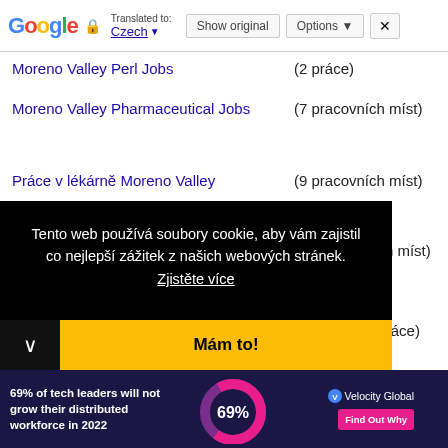Google | Translated to: Czech | Show original | Options | X
Moreno Valley Perl Jobs
(2 práce)
Moreno Valley Pharmaceutical Jobs
(7 pracovních míst)
Práce v lékárně Moreno Valley
(9 pracovních míst)
Moreno Valley Quality Assurance Jobs
(16 pracovních míst)
Moreno Valley Real Estate Jobs
(17 nabídek práce)
Tento web používá soubory cookie, aby vám zajistil co nejlepší zážitek z našich webových stránek. Zjistěte více
Mám to!
69% of tech leaders will not grow their distributed workforce in 2022